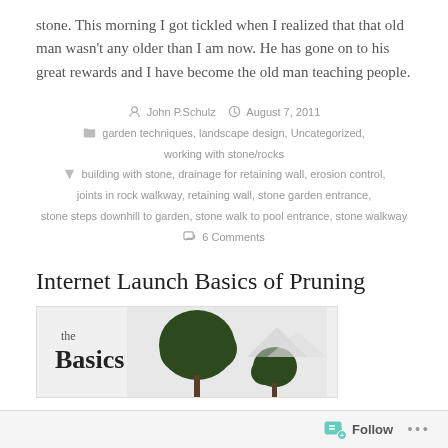stone. This morning I got tickled when I realized that that old man wasn't any older than I am now. He has gone on to his great rewards and I have become the old man teaching people.
John P.Schulz   August 7, 2011
garden techniques, landscape design, Uncategorized,
working with stone/rocks
building with stone, drainage for retaining wall, erosion control,
joints in rock walkway, retaining wall, stone garden entrance,
stone steps downhill to garden, stone walk to pool entrance, stone walkway
6 Comments
Internet Launch Basics of Pruning
[Figure (photo): Book or publication cover showing 'the Basics' text with tree illustrations on a light background]
Follow  ...